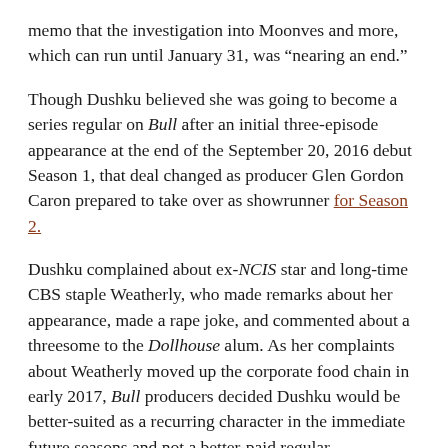memo that the investigation into Moonves and more, which can run until January 31, was “nearing an end.”
Though Dushku believed she was going to become a series regular on Bull after an initial three-episode appearance at the end of the September 20, 2016 debut Season 1, that deal changed as producer Glen Gordon Caron prepared to take over as showrunner for Season 2.
Dushku complained about ex-NCIS star and long-time CBS staple Weatherly, who made remarks about her appearance, made a rape joke, and commented about a threesome to the Dollhouse alum. As her complaints about Weatherly moved up the corporate food chain in early 2017, Bull producers decided Dushku would be better-suited as a recurring character in the immediate future seasons and not a better-paid regular.
The actor declined that far less lucrative scenario and was soon written out of Bull altogether. That led to the retaliation complaint and that $9.5 million settlement that was designed to provide the